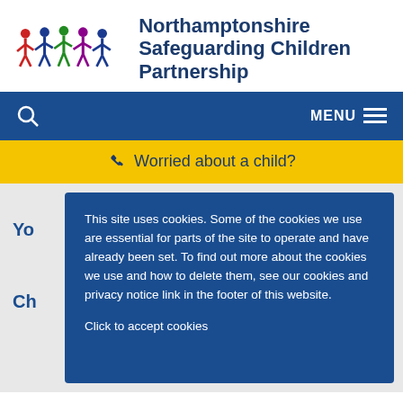[Figure (logo): Northamptonshire Safeguarding Children Partnership logo with colorful stick figures (red, blue, green, purple, dark blue) holding hands]
Northamptonshire Safeguarding Children Partnership
🔍   MENU ☰
📞 Worried about a child?
Yo[ur...]
Ch[...]
This site uses cookies. Some of the cookies we use are essential for parts of the site to operate and have already been set. To find out more about the cookies we use and how to delete them, see our cookies and privacy notice link in the footer of this website.

Click to accept cookies